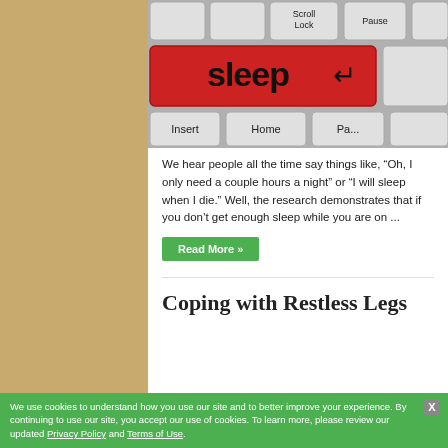[Figure (photo): Close-up photo of a keyboard with a red 'sleep' Enter key, surrounded by grey keys labeled Scroll Lock, Pause, Insert, Home, Page.]
We hear people all the time say things like, “Oh, I only need a couple hours a night” or “I will sleep when I die.” Well, the research demonstrates that if you don’t get enough sleep while you are on ...
Read More »
Coping with Restless Legs
We use cookies to understand how you use our site and to better improve your experience. By continuing to use our site, you accept our use of cookies. To learn more, please review our updated Privacy Policy and Terms of Use.